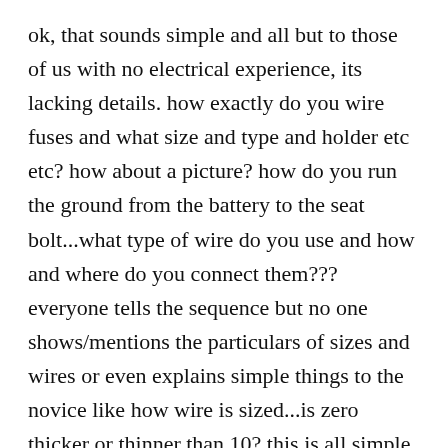ok, that sounds simple and all but to those of us with no electrical experience, its lacking details. how exactly do you wire fuses and what size and type and holder etc etc? how about a picture? how do you run the ground from the battery to the seat bolt...what type of wire do you use and how and where do you connect them??? everyone tells the sequence but no one shows/mentions the particulars of sizes and wires or even explains simple things to the novice like how wire is sized...is zero thicker or thinner than 10? this is all simple info that would help a beginner really be able to wire their own system safely but the people who know how to do it make too many assumptions. remember, if you are going to teach someone something, you have